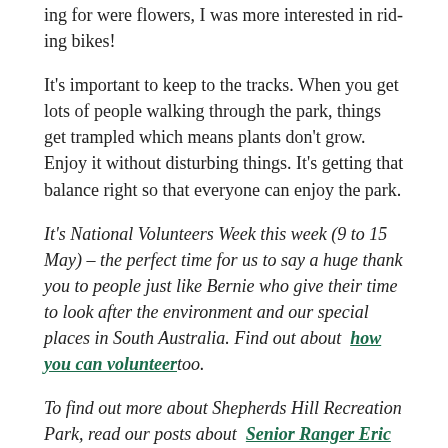When I was in my 20s the last thing I would be out looking for were flowers, I was more interested in riding bikes!
It's important to keep to the tracks. When you get lots of people walking through the park, things get trampled which means plants don't grow. Enjoy it without disturbing things. It's getting that balance right so that everyone can enjoy the park.
It's National Volunteers Week this week (9 to 15 May) – the perfect time for us to say a huge thank you to people just like Bernie who give their time to look after the environment and our special places in South Australia. Find out about how you can volunteer too.
To find out more about Shepherds Hill Recreation Park, read our posts about Senior Ranger Eric de Smit and 5 treasures of the park.